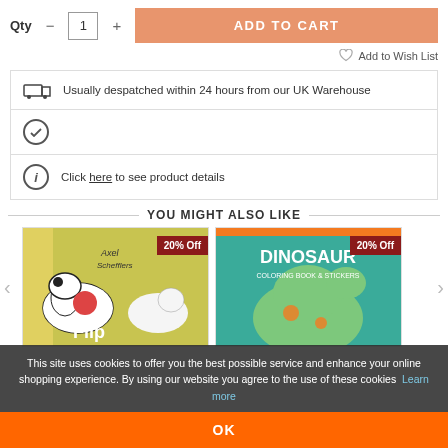Qty - 1 + ADD TO CART
Add to Wish List
Usually despatched within 24 hours from our UK Warehouse
Click here to see product details
YOU MIGHT ALSO LIKE
[Figure (photo): Book cover: Axel Schefflers Flip Flap Farm with 20% Off badge]
[Figure (photo): Book cover: Dinosaurs Coloring Book & Stickers with 20% Off badge]
This site uses cookies to offer you the best possible service and enhance your online shopping experience. By using our website you agree to the use of these cookies Learn more
OK